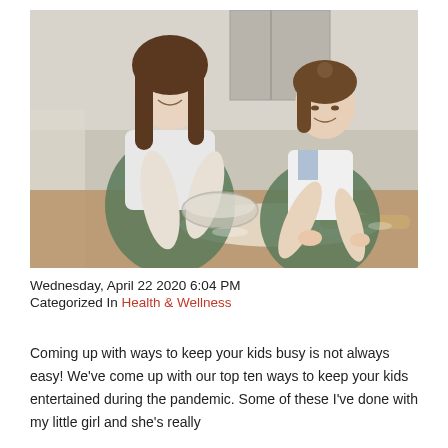[Figure (photo): A smiling woman and a young girl both wearing green aprons, baking together at a kitchen table. The woman holds a glass bowl with dough while the girl works with flour on the table surface with a rolling pin nearby.]
Wednesday, April 22 2020 6:04 PM
Categorized In Health & Wellness
Coming up with ways to keep your kids busy is not always easy! We've come up with our top ten ways to keep your kids entertained during the pandemic. Some of these I've done with my little girl and she's really